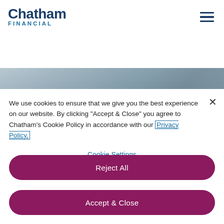Chatham FINANCIAL
[Figure (photo): Office/professional scene with people in a modern workspace, blurred background, hero banner image]
We use cookies to ensure that we give you the best experience on our website. By clicking "Accept & Close" you agree to Chatham's Cookie Policy in accordance with our Privacy Policy.
Cookie Settings
Reject All
Accept & Close